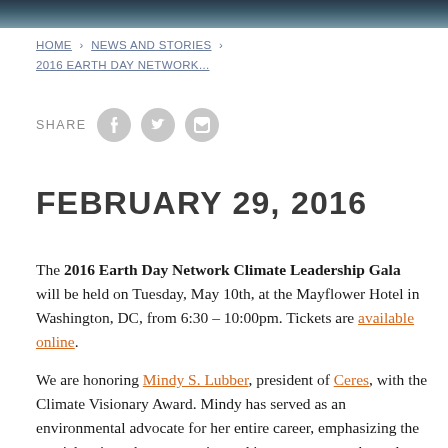[Figure (photo): A dark banner/header image at the top of the page showing people in a dimly lit setting]
HOME › NEWS AND STORIES › 2016 EARTH DAY NETWORK...
SHARE
FEBRUARY 29, 2016
The 2016 Earth Day Network Climate Leadership Gala will be held on Tuesday, May 10th, at the Mayflower Hotel in Washington, DC, from 6:30 – 10:00pm. Tickets are available online.
We are honoring Mindy S. Lubber, president of Ceres, with the Climate Visionary Award. Mindy has served as an environmental advocate for her entire career, emphasizing the crucial actions that companies and investors must take and advocating for strong climate and clean energy policies in